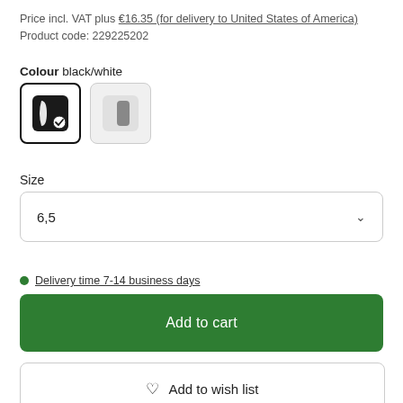Price incl. VAT plus €16.35 (for delivery to United States of America)
Product code: 229225202
Colour black/white
[Figure (other): Two colour swatches: first swatch shows black/white product with checkmark border selected, second swatch shows grey product unselected]
Size
6,5 (dropdown selector)
Delivery time 7-14 business days
Add to cart
Add to wish list